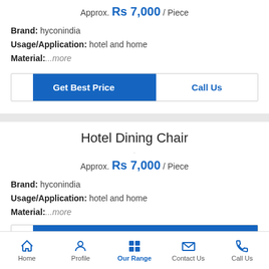Approx. Rs 7,000 / Piece
Brand: hyconindia
Usage/Application: hotel and home
Material: ...more
Hotel Dining Chair
Approx. Rs 7,000 / Piece
Brand: hyconindia
Usage/Application: hotel and home
Material: ...more
Home | Profile | Our Range | Contact Us | Call Us